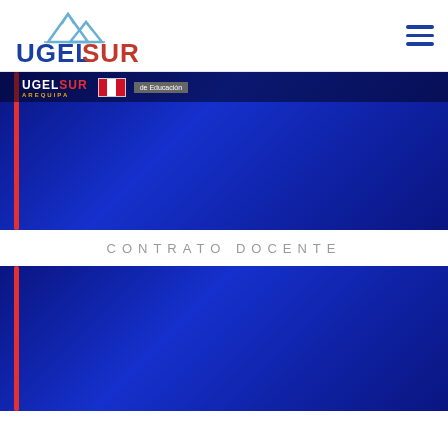[Figure (logo): UGEL SUR Arequipa logo with mountain graphic, blue and red text]
[Figure (screenshot): Dark blue banner with red vertical bar on left, UGEL SUR Arequipa logo, Peruvian flag icon, and 'de Educación' label at the top]
CONTRATO DOCENTE
[Figure (screenshot): Dark blue banner with red vertical bar on left, gradient blue background]